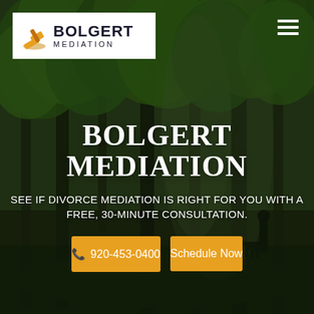[Figure (photo): Forest/woodland background with trees, light filtering through, person with dog silhouette in right side background]
[Figure (logo): Bolgert Mediation logo with gavel icon in orange/gold and company name in dark text on white background]
BOLGERT MEDIATION
SEE IF DIVORCE MEDIATION IS RIGHT FOR YOU WITH A FREE, 30-MINUTE CONSULTATION.
📞 920-453-0400
Schedule Now